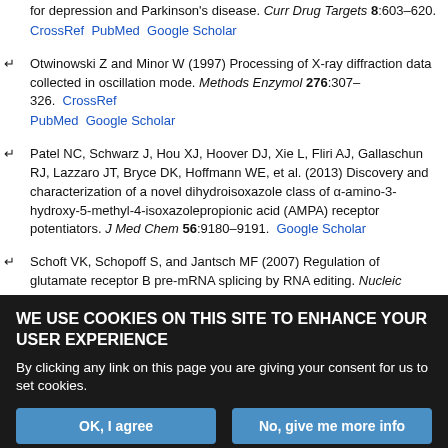for depression and Parkinson's disease. Curr Drug Targets 8:603–620. CrossRef PubMed Google Scholar
Otwinowski Z and Minor W (1997) Processing of X-ray diffraction data collected in oscillation mode. Methods Enzymol 276:307–326. CrossRef PubMed Google Scholar
Patel NC, Schwarz J, Hou XJ, Hoover DJ, Xie L, Fliri AJ, Gallaschun RJ, Lazzaro JT, Bryce DK, Hoffmann WE, et al. (2013) Discovery and characterization of a novel dihydroisoxazole class of α-amino-3-hydroxy-5-methyl-4-isoxazolepropionic acid (AMPA) receptor potentiators. J Med Chem 56:9180–9191. Google Scholar
Schoft VK, Schopoff S, and Jantsch MF (2007) Regulation of glutamate receptor B pre-mRNA splicing by RNA editing. Nucleic Acids Res
WE USE COOKIES ON THIS SITE TO ENHANCE YOUR USER EXPERIENCE

By clicking any link on this page you are giving your consent for us to set cookies.

[OK, I agree] [No, give me more info]